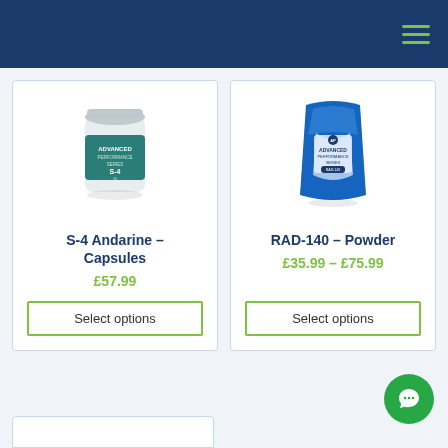[Figure (photo): Supplement bottle labeled 'Advanced Performance Series S-4 30 Dietary Supplement']
S-4 Andarine – Capsules
£57.99
Select options
[Figure (photo): Blue powder bag labeled 'Advanced Performance Series RAD-140 1g']
RAD-140 – Powder
£35.99 – £75.99
Select options